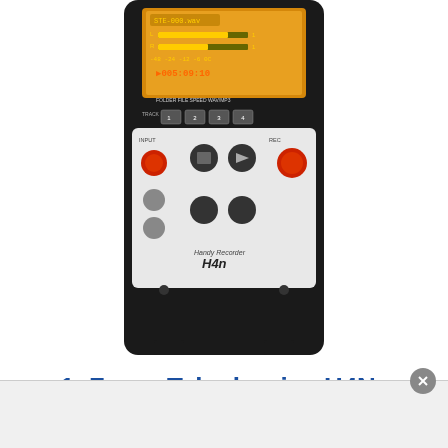[Figure (photo): Zoom Telephonics H4N Handy Recorder digital voice recorder device, front view showing display screen with STE-000.wav file, control buttons, and H4n branding]
1. Zoom Telephonics H4N Digital Voice Recorder
Zoom Telephonics H4N is a device that may